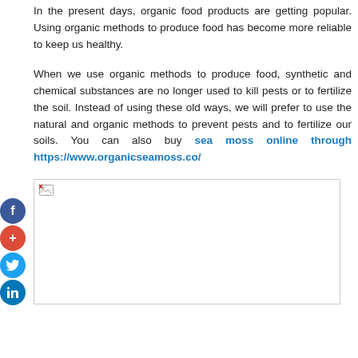In the present days, organic food products are getting popular. Using organic methods to produce food has become more reliable to keep us healthy.
When we use organic methods to produce food, synthetic and chemical substances are no longer used to kill pests or to fertilize the soil. Instead of using these old ways, we will prefer to use the natural and organic methods to prevent pests and to fertilize our soils. You can also buy sea moss online through https://www.organicseamoss.co/
[Figure (photo): Broken image placeholder (image failed to load), shown as a rectangle with a small broken image icon in the top-left corner.]